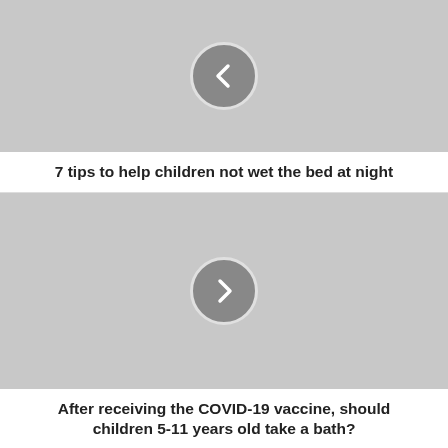[Figure (other): Gray placeholder image with a left-arrow navigation circle button in the center]
7 tips to help children not wet the bed at night
[Figure (other): Gray placeholder image with a right-arrow navigation circle button in the center]
After receiving the COVID-19 vaccine, should children 5-11 years old take a bath?